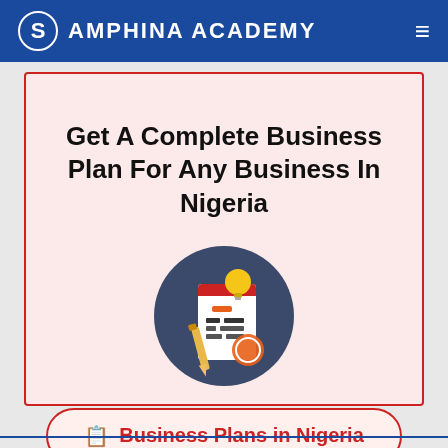SAMPHINA ACADEMY
Get A Complete Business Plan For Any Business In Nigeria
[Figure (illustration): Business plan icon showing a document with charts and a lightbulb, on a dark circular background with a pencil and orange circle stamp]
📋 Business Plans in Nigeria